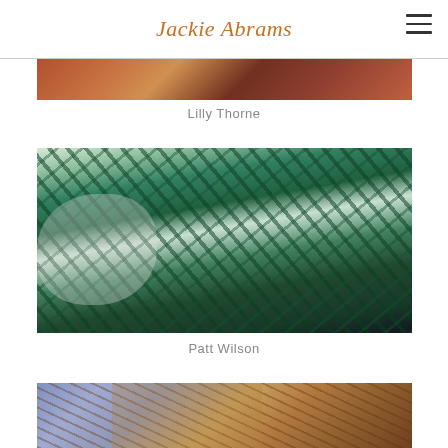Jackie Abrams
[Figure (photo): Partial view of colorful artwork at top of page (Lilly Thorne)]
Lilly Thorne
[Figure (photo): Woman with glasses looking through shattered or exploding glass sculpture with green and white patterns (Patt Wilson)]
Patt Wilson
[Figure (photo): Partial view of colorful plant/floral artwork at bottom of page]